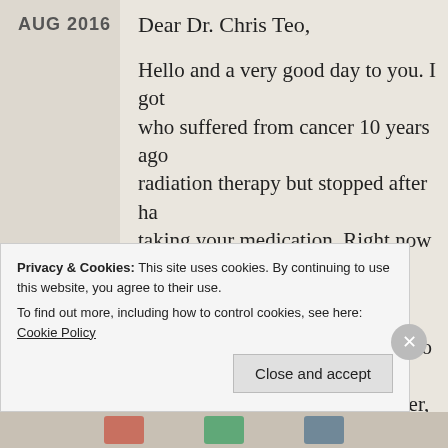AUG 2016
Dear Dr. Chris Teo,
Hello and a very good day to you. I got who suffered from cancer 10 years ago radiation therapy but stopped after ha taking your medication. Right now she cancer did not come back.
Back to the subject, I would like to boo 17 1030hrs on behalf of my father, wh just went through operation … to reme advise of Doctor on 22nd Aug. We are our
Privacy & Cookies: This site uses cookies. By continuing to use this website, you agree to their use.
To find out more, including how to control cookies, see here: Cookie Policy
Close and accept